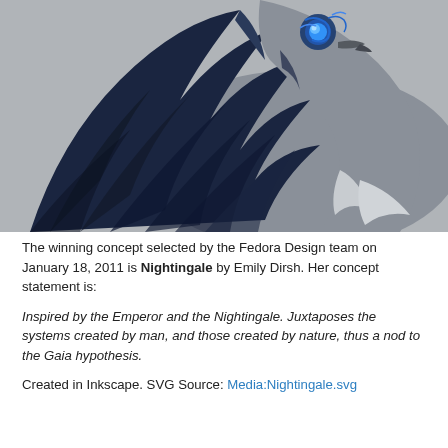[Figure (illustration): Digital illustration of a nightingale bird with dark navy/blue-black wings spread out, and a glowing blue mechanical/ornate head piece, set against a grey background. The bird appears to be in a swooping pose.]
The winning concept selected by the Fedora Design team on January 18, 2011 is Nightingale by Emily Dirsh. Her concept statement is:
Inspired by the Emperor and the Nightingale. Juxtaposes the systems created by man, and those created by nature, thus a nod to the Gaia hypothesis.
Created in Inkscape. SVG Source: Media:Nightingale.svg